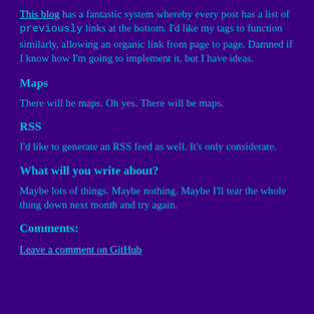This blog has a fantastic system whereby every post has a list of previously links at the bottom. I'd like my tags to function similarly, allowing an organic link from page to page. Damned if I know how I'm going to implement it, but I have ideas.
Maps
There will be maps. Oh yes. There will be maps.
RSS
I'd like to generate an RSS feed as well. It's only considerate.
What will you write about?
Maybe lots of things. Maybe nothing. Maybe I'll tear the whole thing down next month and try again.
Comments:
Leave a comment on GitHub